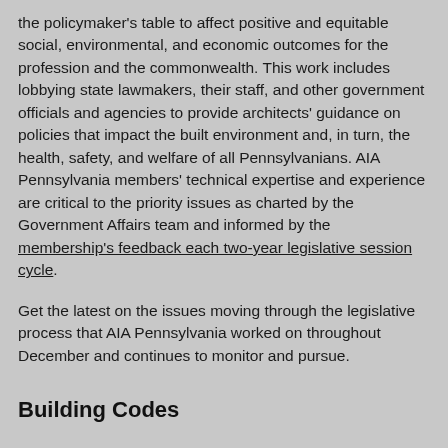the policymaker's table to affect positive and equitable social, environmental, and economic outcomes for the profession and the commonwealth. This work includes lobbying state lawmakers, their staff, and other government officials and agencies to provide architects' guidance on policies that impact the built environment and, in turn, the health, safety, and welfare of all Pennsylvanians. AIA Pennsylvania members' technical expertise and experience are critical to the priority issues as charted by the Government Affairs team and informed by the membership's feedback each two-year legislative session cycle.
Get the latest on the issues moving through the legislative process that AIA Pennsylvania worked on throughout December and continues to monitor and pursue.
Building Codes